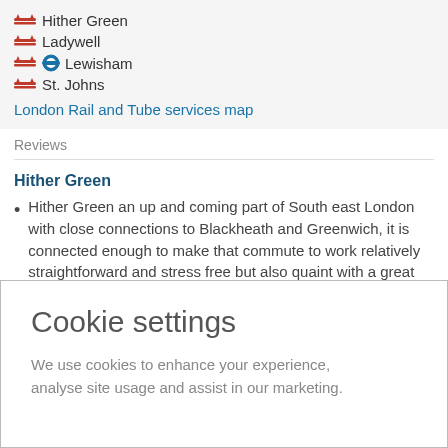Hither Green
Ladywell
Lewisham
St. Johns
London Rail and Tube services map
Reviews
Hither Green
Hither Green an up and coming part of South east London with close connections to Blackheath and Greenwich, it is connected enough to make that commute to work relatively straightforward and stress free but also quaint with a great helping of local arts and culture.
Cookie settings
We use cookies to enhance your experience, analyse site usage and assist in our marketing.